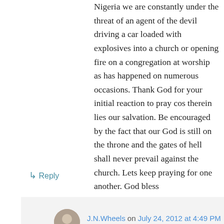Nigeria we are constantly under the threat of an agent of the devil driving a car loaded with explosives into a church or opening fire on a congregation at worship as has happened on numerous occasions. Thank God for your initial reaction to pray cos therein lies our salvation. Be encouraged by the fact that our God is still on the throne and the gates of hell shall never prevail against the church. Lets keep praying for one another. God bless
Chinedu
↳ Reply
J.N.Wheels on July 24, 2012 at 4:49 PM
Chinedu,